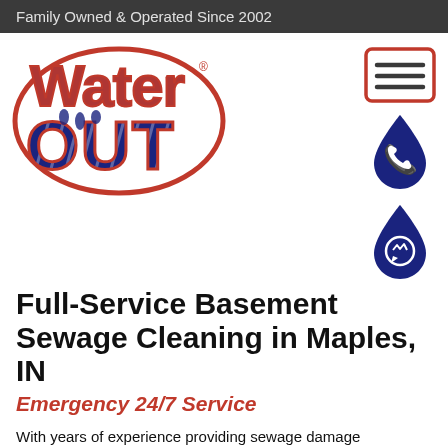Family Owned & Operated Since 2002
[Figure (logo): Water Out logo — stylized text 'Water Out' in red and dark blue with water drop accents]
[Figure (other): Hamburger menu icon in red border rectangle]
[Figure (other): Dark navy water drop icon with white phone symbol inside]
[Figure (other): Dark navy water drop icon with white Messenger/chat symbol inside]
Full-Service Basement Sewage Cleaning in Maples, IN
Emergency 24/7 Service
With years of experience providing sewage damage restoration in the Maples, IN area, Water Out is ready to handle any sewage-related issues you're